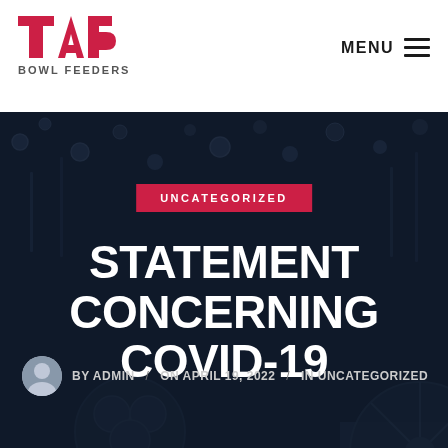TAB BOWL FEEDERS — MENU
[Figure (logo): TAB Bowl Feeders logo — bold red TAB letters with 'BOWL FEEDERS' text below]
STATEMENT CONCERNING COVID-19
UNCATEGORIZED
BY ADMIN / ON APRIL 19, 2022 / IN UNCATEGORIZED
[Figure (photo): Dark navy background with blurred industrial bowl feeder machinery and mechanical parts]